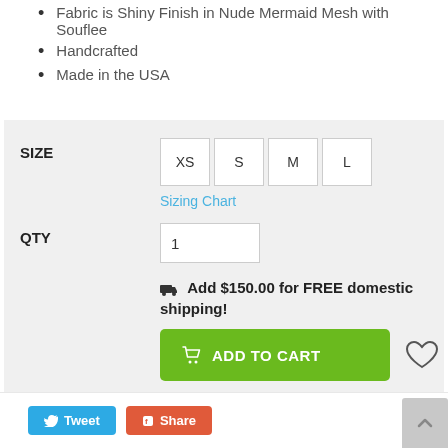Fabric is Shiny Finish in Nude Mermaid Mesh with Souflee
Handcrafted
Made in the USA
SIZE  XS  S  M  L
Sizing Chart
QTY  1
🚚 Add $150.00 for FREE domestic shipping!
ADD TO CART
Processing Time (1-4 business days)
Tweet  Share